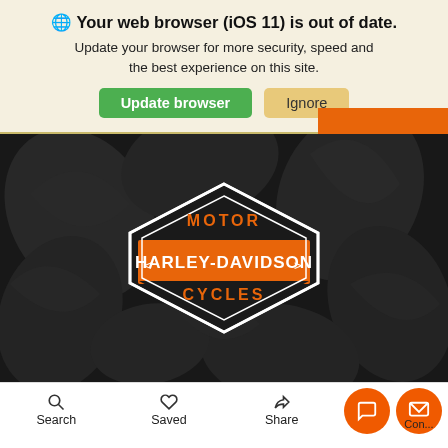🌐 Your web browser (iOS 11) is out of date. Update your browser for more security, speed and the best experience on this site.
Update browser | Ignore
[Figure (logo): Harley-Davidson Motor Cycles logo on dark background with decorative leaf/wheel pattern]
Search | Saved | Share | Contact